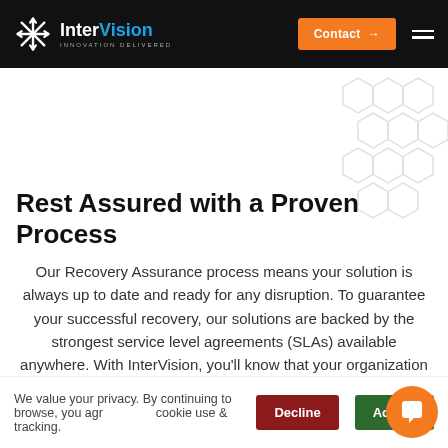InterVision — INNOVATION DELIVERED | Contact →
[Figure (illustration): Decorative hexagonal pattern grid in light gray on white background, top-right corner]
Rest Assured with a Proven Process
Our Recovery Assurance process means your solution is always up to date and ready for any disruption. To guarantee your successful recovery, our solutions are backed by the strongest service level agreements (SLAs) available anywhere. With InterVision, you'll know that your organization is
We value your privacy. By continuing to browse, you agree to our cookie use & tracking.
Decline | Accept